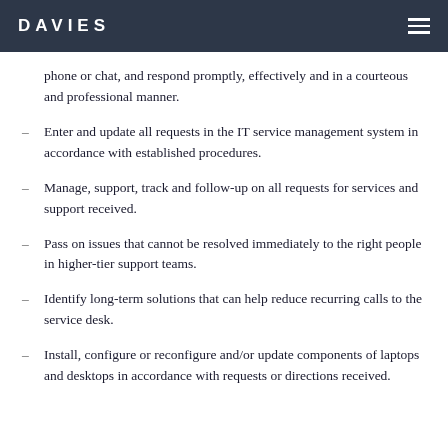DAVIES
phone or chat, and respond promptly, effectively and in a courteous and professional manner.
Enter and update all requests in the IT service management system in accordance with established procedures.
Manage, support, track and follow-up on all requests for services and support received.
Pass on issues that cannot be resolved immediately to the right people in higher-tier support teams.
Identify long-term solutions that can help reduce recurring calls to the service desk.
Install, configure or reconfigure and/or update components of laptops and desktops in accordance with requests or directions received.